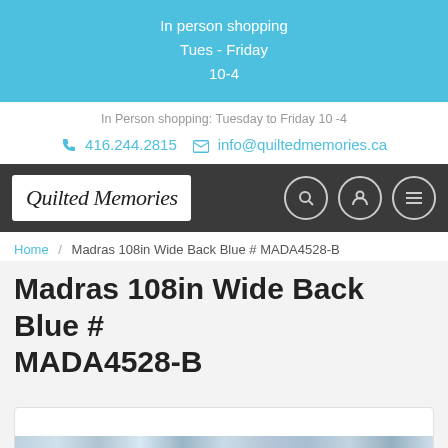In person shopping
Tues - Friday
10-4
In Person shopping: Tuesday to Friday 10 -4
📞 416.244.2815  ✉ info@quiltedmemories.ca
[Figure (logo): Quilted Memories logo in italic script on white background, inside dark navigation bar with three circular icon buttons on the right]
Home / Madras 108in Wide Back Blue # MADA4528-B
Madras 108in Wide Back Blue # MADA4528-B
[Figure (photo): Partial view of blue fabric product image at bottom of page]